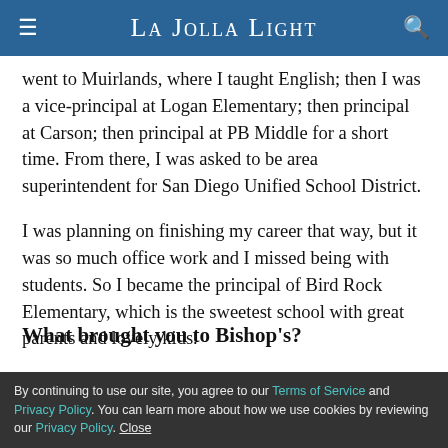La Jolla Light
went to Muirlands, where I taught English; then I was a vice-principal at Logan Elementary; then principal at Carson; then principal at PB Middle for a short time. From there, I was asked to be area superintendent for San Diego Unified School District.
I was planning on finishing my career that way, but it was so much office work and I missed being with students. So I became the principal of Bird Rock Elementary, which is the sweetest school with great parents and lovely kids.
What brought you to Bishop's?
By continuing to use our site, you agree to our Terms of Service and Privacy Policy. You can learn more about how we use cookies by reviewing our Privacy Policy. Close